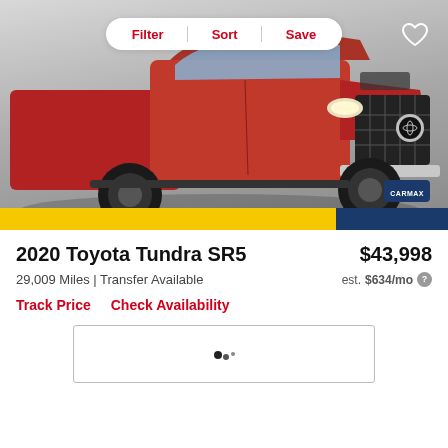[Figure (photo): Red 2020 Toyota Tundra SR5 truck photographed in a dealership setting, front three-quarter view. Filter, Sort, Save navigation bar overlaid at top. Heart/save icon in top right corner. Yellow and navy bar at bottom of image with CarMax branding.]
2020 Toyota Tundra SR5
$43,998
29,009 Miles | Transfer Available
est. $634/mo
Track Price    Check Availability
[Figure (other): Loading spinner/indicator inside a bordered rectangle box]